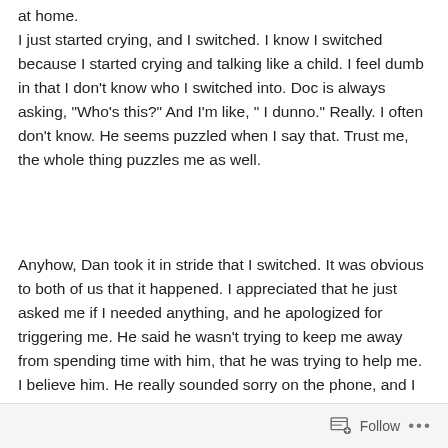at home.
I just started crying, and I switched. I know I switched because I started crying and talking like a child. I feel dumb in that I don’t know who I switched into. Doc is always asking, “Who’s this?” And I’m like, “ I dunno.” Really. I often don’t know. He seems puzzled when I say that. Trust me, the whole thing puzzles me as well.
Anyhow, Dan took it in stride that I switched. It was obvious to both of us that it happened. I appreciated that he just asked me if I needed anything, and he apologized for triggering me. He said he wasn’t trying to keep me away from spending time with him, that he was trying to help me. I believe him. He really sounded sorry on the phone, and I felt bad.
Follow •••